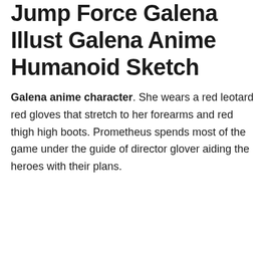Jump Force Galena Illust Galena Anime Humanoid Sketch
Galena anime character. She wears a red leotard red gloves that stretch to her forearms and red thigh high boots. Prometheus spends most of the game under the guide of director glover aiding the heroes with their plans.